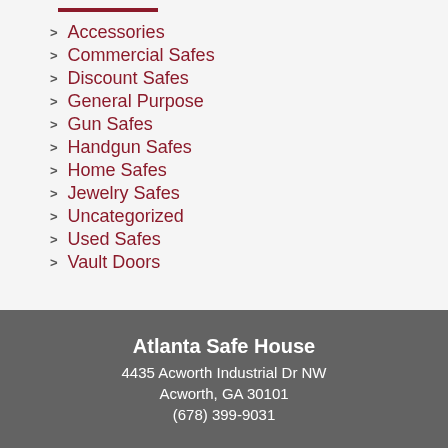Accessories
Commercial Safes
Discount Safes
General Purpose
Gun Safes
Handgun Safes
Home Safes
Jewelry Safes
Uncategorized
Used Safes
Vault Doors
Atlanta Safe House
4435 Acworth Industrial Dr NW
Acworth, GA 30101
(678) 399-9031